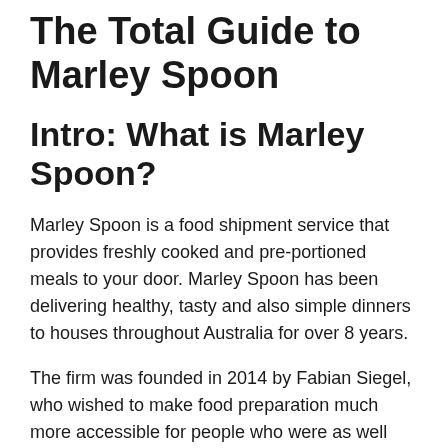The Total Guide to Marley Spoon
Intro: What is Marley Spoon?
Marley Spoon is a food shipment service that provides freshly cooked and pre-portioned meals to your door. Marley Spoon has been delivering healthy, tasty and also simple dinners to houses throughout Australia for over 8 years.
The firm was founded in 2014 by Fabian Siegel, who wished to make food preparation much more accessible for people who were as well hectic or did not have the skills. The